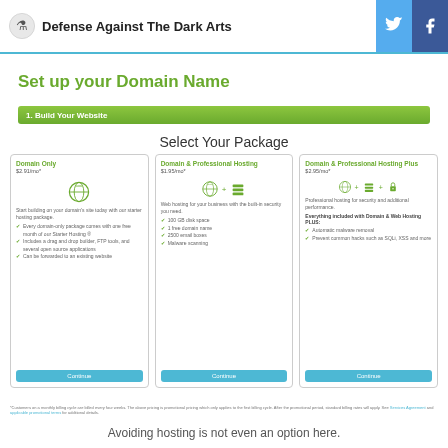Defense Against The Dark Arts
Set up your Domain Name
1. Build Your Website
Select Your Package
[Figure (screenshot): Three hosting package cards: Domain Only $2.91/mo*, Domain & Professional Hosting $1.95/mo*, Domain & Professional Hosting Plus $2.95/mo* with Continue buttons]
*Customers on a monthly billing cycle are billed every four weeks. The above pricing is promotional pricing which only applies to the first billing cycle. After the promotional period, standard billing rates will apply. See Services Agreement and applicable promotional terms for additional details.
Avoiding hosting is not even an option here.